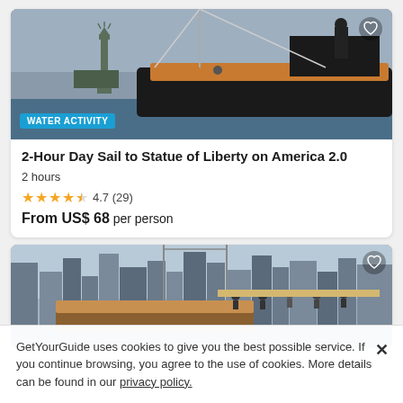[Figure (photo): Sailboat on water with Statue of Liberty visible in background, blue sky]
WATER ACTIVITY
2-Hour Day Sail to Statue of Liberty on America 2.0
2 hours
4.7 (29)
From US$ 68 per person
[Figure (photo): Sailboat with city skyline (Manhattan buildings) in background, people on deck]
GetYourGuide uses cookies to give you the best possible service. If you continue browsing, you agree to the use of cookies. More details can be found in our privacy policy.